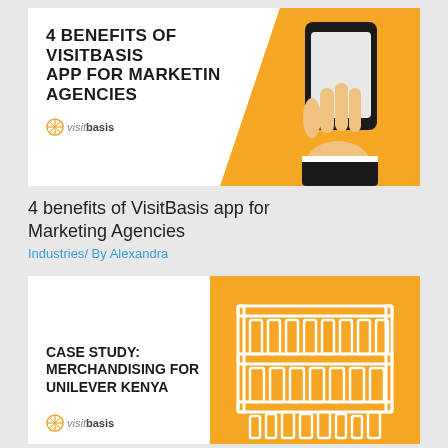[Figure (illustration): Card with orange triangle background on right side showing a hand holding a smartphone, and bold title text on white left side reading '4 BENEFITS OF VISITBASIS APP FOR MARKETING AGENCIES' with visitbasis logo]
4 benefits of VisitBasis app for Marketing Agencies
Industries / By Alexandra
[Figure (illustration): Card with white left side showing 'CASE STUDY: MERCHANDISING FOR UNILEVER KENYA' in bold with visitbasis logo, and orange right side with white shelf/store icon illustration]